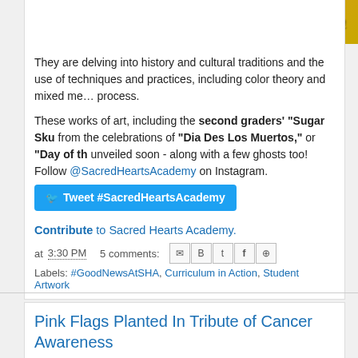classic, iconic characters.
[Figure (illustration): Banner image with yellow italic text reading 'into spirit of sea' on a warm brown/golden background]
They are delving into history and cultural traditions and the use of techniques and practices, including color theory and mixed media process.
These works of art, including the second graders' "Sugar Sku from the celebrations of "Dia Des Los Muertos," or "Day of th unveiled soon - along with a few ghosts too! Follow @SacredHeartsAcademy on Instagram.
Tweet #SacredHeartsAcademy
Contribute to Sacred Hearts Academy.
at 3:30 PM   5 comments:
Labels: #GoodNewsAtSHA, Curriculum in Action, Student Artwork
Pink Flags Planted In Tribute of Cancer Awareness
[Figure (photo): Image with pink italic bold text reading 'Pink flags planted in tribut' on a green grassy background]